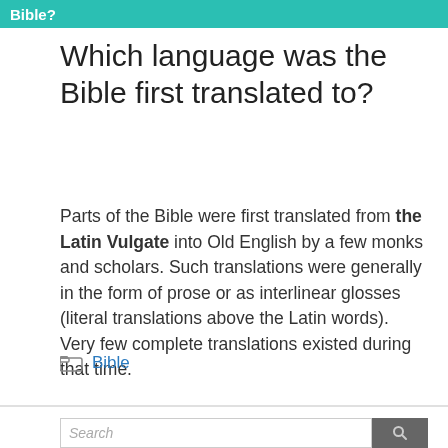Bible?
Which language was the Bible first translated to?
Parts of the Bible were first translated from the Latin Vulgate into Old English by a few monks and scholars. Such translations were generally in the form of prose or as interlinear glosses (literal translations above the Latin words). Very few complete translations existed during that time.
Bible